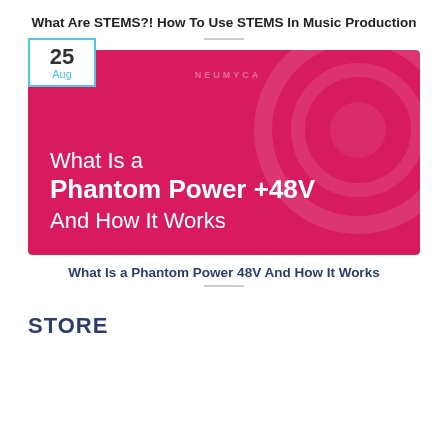What Are STEMS?! How To Use STEMS In Music Production
[Figure (illustration): Promotional card with pink/crimson background showing a speaker or audio equipment silhouette. Date badge '25 Aug' overlaid top-left in cyan-bordered white box. Text reads: 'What Is a Phantom Power +48V And How It Works']
What Is a Phantom Power 48V And How It Works
STORE